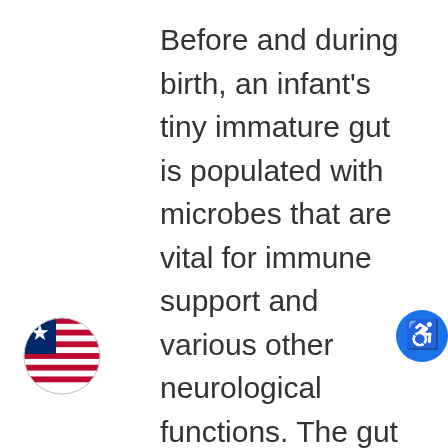Before and during birth, an infant's tiny immature gut is populated with microbes that are vital for immune support and various other neurological functions. The gut microbes are greatly influenced by several factors such as delivery method, diet and exposure to antibiotics. It's not until the child is between 1 and 3 years of age that more adult-like communities of microbes emerge, adding as many as 5 million more genes to our overall genetic profile. Since there already 100 trillion microorganisms taking up residency, these additional genes